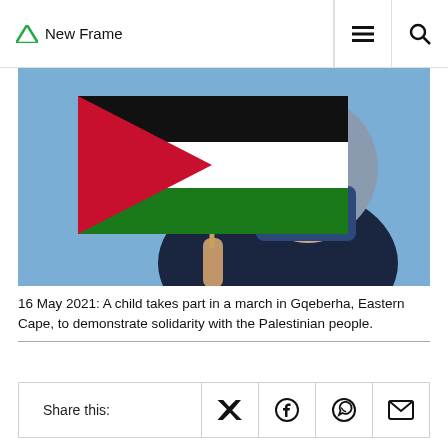New Frame
[Figure (photo): A child wearing a dark blue puffer jacket and a dark blue face mask, with a grey hoodie, holds a Palestinian flag aloft against a blue sky. The flag shows horizontal black, white, and green stripes with a red triangle on the left.]
16 May 2021: A child takes part in a march in Gqeberha, Eastern Cape, to demonstrate solidarity with the Palestinian people.
Share this: